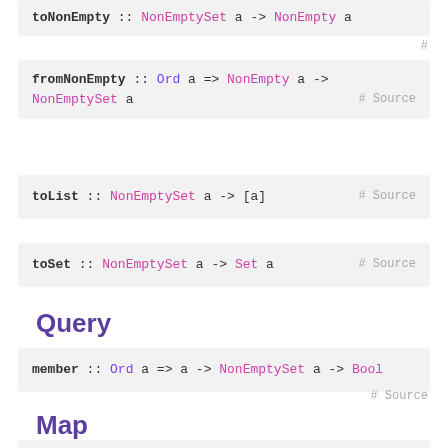toNonEmpty :: NonEmptySet a -> NonEmpty a
# Source
fromNonEmpty :: Ord a => NonEmpty a -> NonEmptySet a
# Source
toList :: NonEmptySet a -> [a]
# Source
toSet :: NonEmptySet a -> Set a
# Source
Query
member :: Ord a => a -> NonEmptySet a -> Bool
# Source
Map